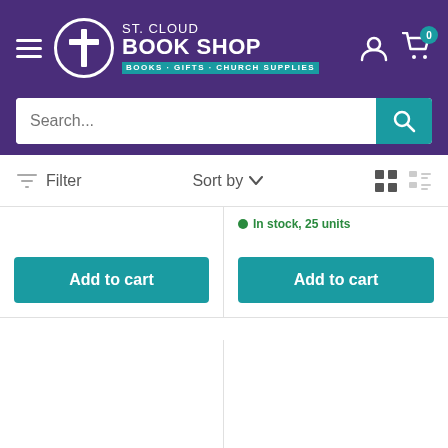[Figure (logo): St. Cloud Book Shop logo with cross icon, teal tagline reading BOOKS · GIFTS · CHURCH SUPPLIES on purple background]
Search...
Filter
Sort by
In stock, 25 units
Add to cart
Add to cart